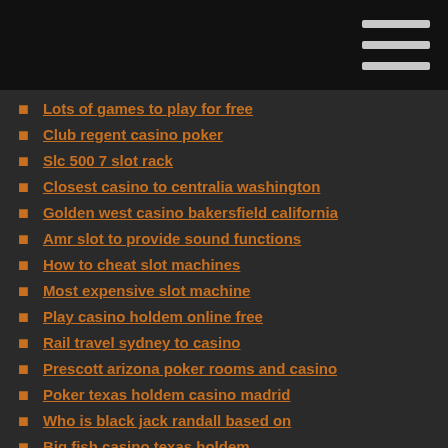Lots of games to play for free
Club regent casino poker
Slc 500 7 slot rack
Closest casino to centralia washington
Golden west casino bakersfield california
Amr slot to provide sound functions
How to cheat slot machines
Most expensive slot machine
Play casino holdem online free
Rail travel sydney to casino
Prescott arizona poker rooms and casino
Poker texas holdem casino madrid
Who is black jack randall based on
Big fish casino texas holdem